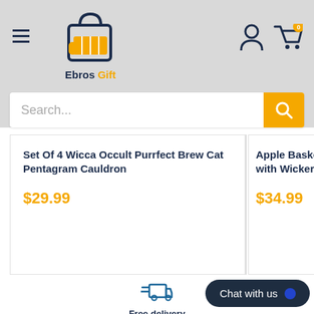[Figure (logo): Ebros Gift logo with shopping bag icon and brand name]
Search...
Set Of 4 Wicca Occult Purrfect Brew Cat Pentagram Cauldron
$29.99
Apple Basket Paper with Wicker Look D
$34.99
[Figure (illustration): Fast delivery truck icon with speed lines]
Free delivery
Worry-free delivery process
Chat with us